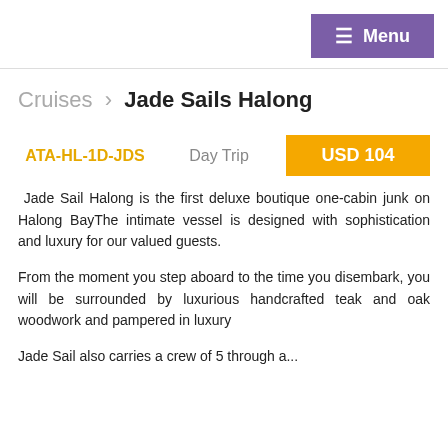≡ Menu
Cruises › Jade Sails Halong
ATA-HL-1D-JDS   Day Trip   USD 104
Jade Sail Halong is the first deluxe boutique one-cabin junk on Halong BayThe intimate vessel is designed with sophistication and luxury for our valued guests.
From the moment you step aboard to the time you disembark, you will be surrounded by luxurious handcrafted teak and oak woodwork and pampered in luxury
Jade Sail also carries a crew of 5 through a...